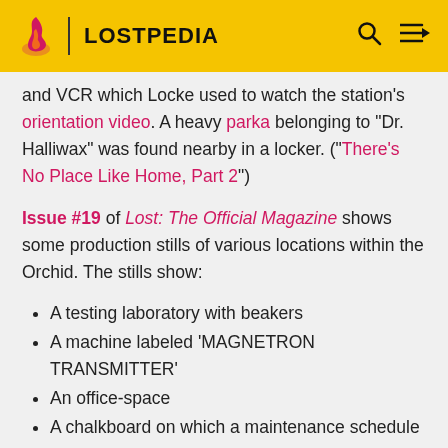LOSTPEDIA
and VCR which Locke used to watch the station's orientation video. A heavy parka belonging to "Dr. Halliwax" was found nearby in a locker. ("There's No Place Like Home, Part 2")
Issue #19 of Lost: The Official Magazine shows some production stills of various locations within the Orchid. The stills show:
A testing laboratory with beakers
A machine labeled 'MAGNETRON TRANSMITTER'
An office-space
A chalkboard on which a maintenance schedule is written:
Monday: Emergency Lighting(?)